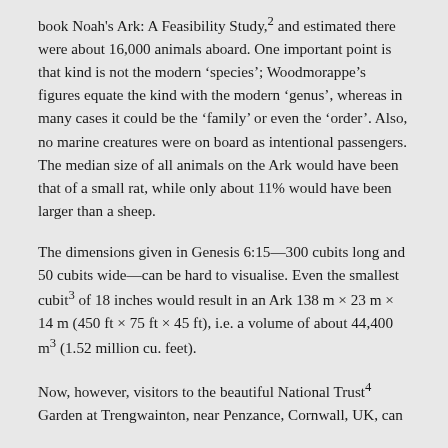book Noah's Ark: A Feasibility Study,2 and estimated there were about 16,000 animals aboard. One important point is that kind is not the modern ‘species’; Woodmorappe’s figures equate the kind with the modern ‘genus’, whereas in many cases it could be the ‘family’ or even the ‘order’. Also, no marine creatures were on board as intentional passengers. The median size of all animals on the Ark would have been that of a small rat, while only about 11% would have been larger than a sheep.
The dimensions given in Genesis 6:15—300 cubits long and 50 cubits wide—can be hard to visualise. Even the smallest cubit3 of 18 inches would result in an Ark 138 m × 23 m × 14 m (450 ft × 75 ft × 45 ft), i.e. a volume of about 44,400 m3 (1.52 million cu. feet).
Now, however, visitors to the beautiful National Trust4 Garden at Trengwainton, near Penzance, Cornwall, UK, can